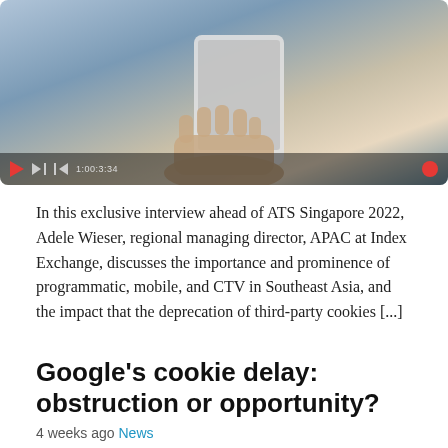[Figure (photo): A person holding a smartphone against a blurred outdoor background, with a video player control bar at the bottom showing a red play button and timestamp.]
In this exclusive interview ahead of ATS Singapore 2022, Adele Wieser, regional managing director, APAC at Index Exchange, discusses the importance and prominence of programmatic, mobile, and CTV in Southeast Asia, and the impact that the deprecation of third-party cookies [...]
Google's cookie delay: obstruction or opportunity?
4 weeks ago News
[Figure (photo): A stack of chocolate chip cookies on a beige/cream background.]